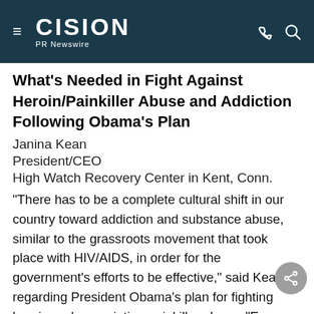CISION PR Newswire
What's Needed in Fight Against Heroin/Painkiller Abuse and Addiction Following Obama's Plan
Janina Kean
President/CEO
High Watch Recovery Center in Kent, Conn.
"There has to be a complete cultural shift in our country toward addiction and substance abuse, similar to the grassroots movement that took place with HIV/AIDS, in order for the government's efforts to be effective," said Kean regarding President Obama's plan for fighting heroin and prescription painkiller abuse. "Ever since the era of Ronald Reagan and the 'War on Drugs,' we have criminalized the illness of substance use disorder, exacerbating the